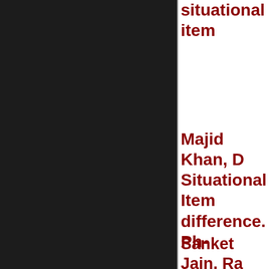situational item
Majid Khan, D Situational Item difference. Ph-
Sanket Jain, Ra Talented full of village items, v budget. Ph.
Mathew Georg mimic 200 voic with me. Ph.